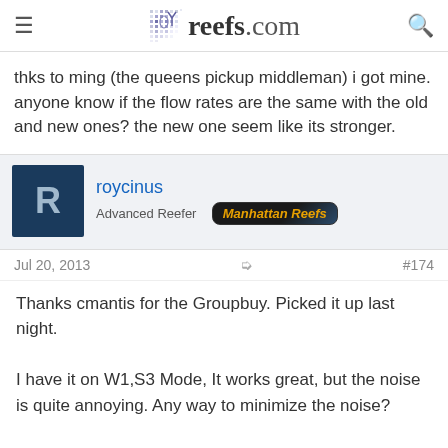reefs.com
thks to ming (the queens pickup middleman) i got mine. anyone know if the flow rates are the same with the old and new ones? the new one seem like its stronger.
roycinus
Advanced Reefer  Manhattan Reefs
Jul 20, 2013  #174
Thanks cmantis for the Groupbuy. Picked it up last night.

I have it on W1,S3 Mode, It works great, but the noise is quite annoying. Any way to minimize the noise?

http://www.youtube.com/watch?v=Ox8_tHpbxhU
Moneymaks24
Guest